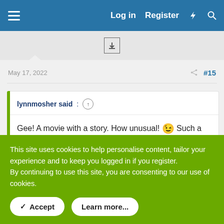Log in  Register
May 17, 2022  #15
lynnmosher said: ↑

Gee! A movie with a story. How unusual! 😉 Such a sad and depressing yet thoroughly captivating movie. Plummer is excellent 👍
This site uses cookies to help personalise content, tailor your experience and to keep you logged in if you register.
By continuing to use this site, you are consenting to our use of cookies.